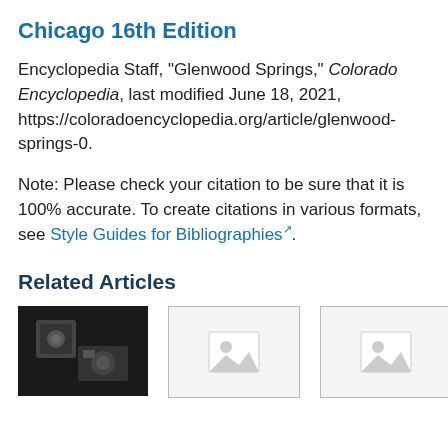Chicago 16th Edition
Encyclopedia Staff, "Glenwood Springs," Colorado Encyclopedia, last modified June 18, 2021, https://coloradoencyclopedia.org/article/glenwood-springs-0.
Note: Please check your citation to be sure that it is 100% accurate. To create citations in various formats, see Style Guides for Bibliographies.
Related Articles
[Figure (photo): Black and white photo thumbnail of a related article]
[Figure (photo): Placeholder thumbnail image for related article]
[Figure (photo): Placeholder thumbnail image for related article]